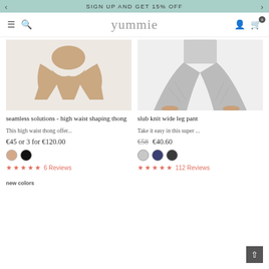SIGN UP AND GET 15% OFF
yummie
[Figure (photo): Product photo of seamless solutions high waist shaping thong in nude color on model]
[Figure (photo): Product photo of slub knit wide leg pant in grey on model]
seamless solutions - high waist shaping thong
slub knit wide leg pant
This high waist thong offer...
Take it easy in this super ...
€45 or 3 for €120.00
€58  €40.60
6 Reviews
112 Reviews
new colors